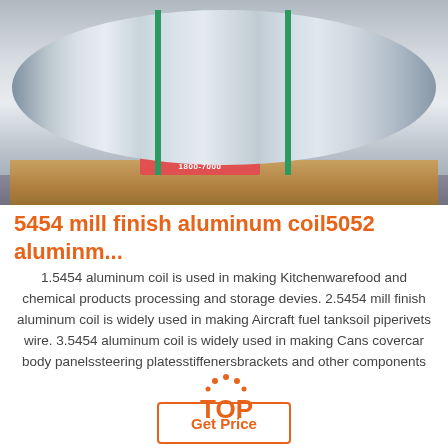[Figure (photo): Large aluminum coil roll strapped with green bands, resting on a wooden pallet on a concrete floor]
5454 mill finish aluminum coil5052 aluminm...
1.5454 aluminum coil is used in making Kitchenwarefood and chemical products processing and storage devies. 2.5454 mill finish aluminum coil is widely used in making Aircraft fuel tanksoil piperivets wire. 3.5454 aluminum coil is widely used in making Cans covercar body panelssteering platesstiffenersbrackets and other components
Get Price